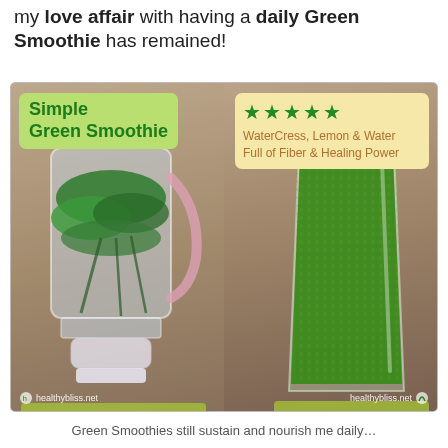my love affair with having a daily Green Smoothie has remained!
[Figure (photo): Infographic showing a blender filled with watercress greens on the left and a glass of blended green smoothie on the right. Top left has a green label reading 'Simple Green Smoothie'. Top right has a cream label with 5 green stars and text 'WaterCress, Lemon & Water Full of Fiber & Healing Power'. Watermarks read 'healthybliss.net' on both sides.]
Green Smoothies still sustain and nourish me daily...